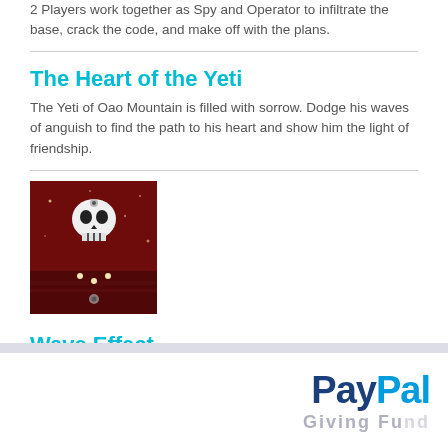2 Players work together as Spy and Operator to infiltrate the base, crack the code, and make off with the plans.
The Heart of the Yeti
The Yeti of Oao Mountain is filled with sorrow. Dodge his waves of anguish to find the path to his heart and show him the light of friendship.
[Figure (screenshot): Screenshot of Wave Effect game showing a skull character on a dark red background with small glowing dots below it]
Wave Effect
An 8-bit puzzle game for the original Game Boy. You must travel between two planes in order to solve puzzles.
[Figure (logo): PayPal logo with dark blue 'Pay' and light blue 'Pal' text, with partially visible 'Giving Fund' text below]